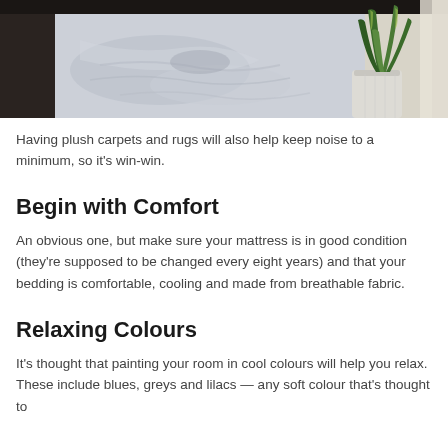[Figure (photo): Bedroom scene with white/light blue rumpled bedding on the left and a snake plant in a white pot on the right, against a neutral wall background.]
Having plush carpets and rugs will also help keep noise to a minimum, so it's win-win.
Begin with Comfort
An obvious one, but make sure your mattress is in good condition (they're supposed to be changed every eight years) and that your bedding is comfortable, cooling and made from breathable fabric.
Relaxing Colours
It's thought that painting your room in cool colours will help you relax. These include blues, greys and lilacs — any soft colour that's thought to